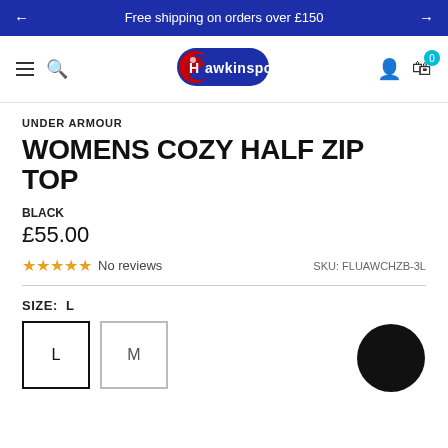← Free shipping on orders over £150 →
[Figure (logo): Hawkinsport logo - blue rounded rectangle with red and white swoosh, white text 'Hawkinsport']
UNDER ARMOUR
WOMENS COZY HALF ZIP TOP
BLACK
£55.00
★ ★ ★ ★ ★ No reviews   SKU: FLUAWCHZB-3L
SIZE: L
L  M